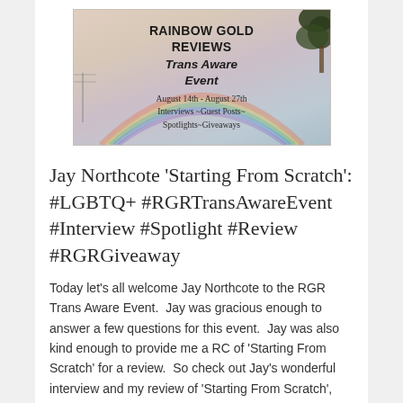[Figure (illustration): Rainbow Gold Reviews Trans Aware Event banner image with rainbow sky background and tree silhouette. Text reads: RAINBOW GOLD REVIEWS Trans Aware Event, August 14th - August 27th, Interviews ~Guest Posts~ Spotlights~Giveaways]
Jay Northcote 'Starting From Scratch': #LGBTQ+ #RGRTransAwareEvent #Interview #Spotlight #Review #RGRGiveaway
Today let's all welcome Jay Northcote to the RGR Trans Aware Event.  Jay was gracious enough to answer a few questions for this event.  Jay was also kind enough to provide me a RC of 'Starting From Scratch' for a review.  So check out Jay's wonderful interview and my review of 'Starting From Scratch', oh…
August 20, 2017 in 150-250 Pages, Book Format